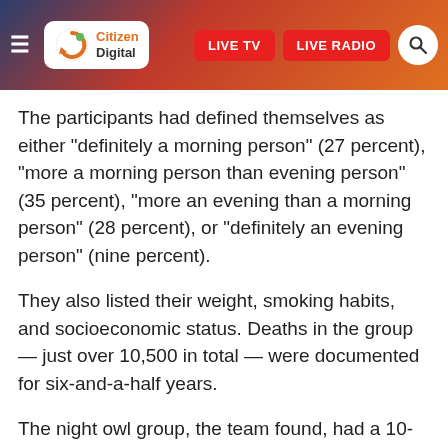Citizen Digital — LIVE TV | LIVE RADIO
The participants had defined themselves as either “definitely a morning person” (27 percent), “more a morning person than evening person” (35 percent), “more an evening than a morning person” (28 percent), or “definitely an evening person” (nine percent).
They also listed their weight, smoking habits, and socioeconomic status. Deaths in the group — just over 10,500 in total — were documented for six-and-a-half years.
The night owl group, the team found, had a 10-